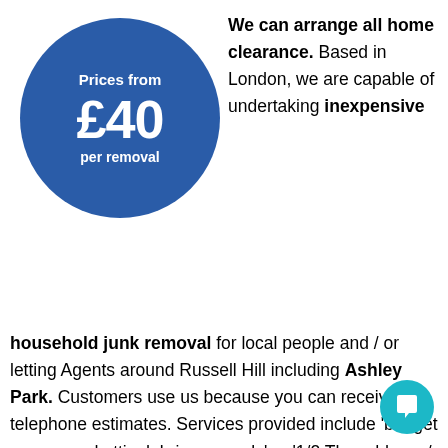[Figure (infographic): Blue circle badge reading 'Prices from £40 per removal']
We can arrange all home clearance. Based in London, we are capable of undertaking inexpensive household junk removal for local people and / or letting Agents around Russell Hill including Ashley Park. Customers use us because you can receive telephone estimates. Services provided include 'budget garage and attic debris removals' or '1/2 The address / The Cheapest in Purley'